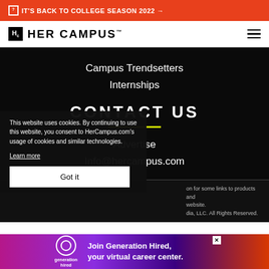IT'S BACK TO COLLEGE SEASON 2022 →
[Figure (logo): Her Campus logo with Hc icon and wordmark]
Campus Trendsetters
Internships
CONTACT US
Advertise
Info@hercampus.com
This website uses cookies. By continuing to use this website, you consent to HerCampus.com's usage of cookies and similar technologies. Learn more
Got it
on for some links to products and website. dia, LLC. All Rights Reserved.
[Figure (infographic): Generation Hired advertisement banner - Join Generation Hired, your virtual career center.]